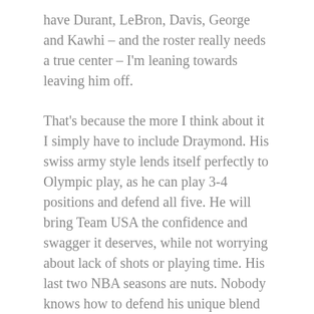have Durant, LeBron, Davis, George and Kawhi – and the roster really needs a true center – I'm leaning towards leaving him off.
That's because the more I think about it I simply have to include Draymond. His swiss army style lends itself perfectly to Olympic play, as he can play 3-4 positions and defend all five. He will bring Team USA the confidence and swagger it deserves, while not worrying about lack of shots or playing time. His last two NBA seasons are nuts. Nobody knows how to defend his unique blend of passing, decision-making and shooting. Put him on the floor with Kawhi and George, and neither France nor Spain nor Serbia will be able to get off a good shot. Draymond's in and I can't wait.